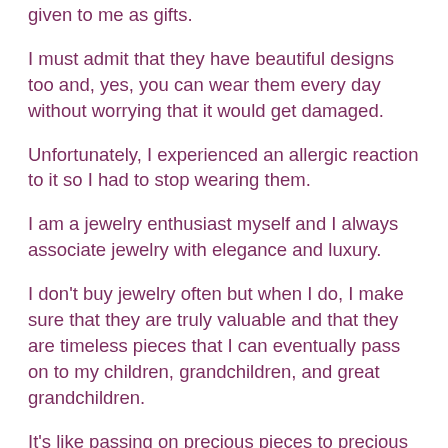given to me as gifts.
I must admit that they have beautiful designs too and, yes, you can wear them every day without worrying that it would get damaged.
Unfortunately, I experienced an allergic reaction to it so I had to stop wearing them.
I am a jewelry enthusiast myself and I always associate jewelry with elegance and luxury.
I don't buy jewelry often but when I do, I make sure that they are truly valuable and that they are timeless pieces that I can eventually pass on to my children, grandchildren, and great grandchildren.
It's like passing on precious pieces to precious people.
I also believe that sterling silver jewelry can be worn